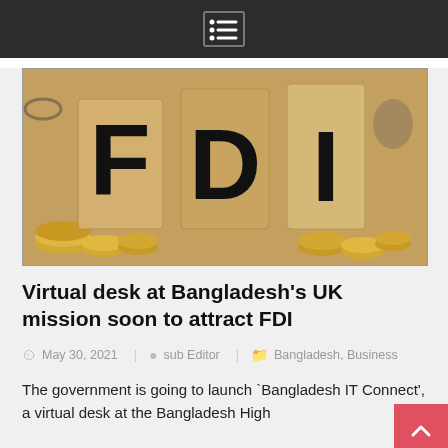Navigation menu icon
[Figure (photo): Wooden blocks spelling FDI surrounded by gold coins, representing foreign direct investment concept]
Virtual desk at Bangladesh's UK mission soon to attract FDI
May 30, 2021  sub Editor  Bangladesh, Business
The government is going to launch `Bangladesh IT Connect', a virtual desk at the Bangladesh High